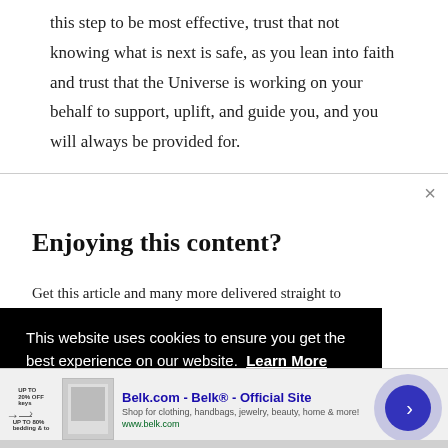this step to be most effective, trust that not knowing what is next is safe, as you lean into faith and trust that the Universe is working on your behalf to support, uplift, and guide you, and you will always be provided for.
Enjoying this content?
Get this article and many more delivered straight to
This website uses cookies to ensure you get the best experience on our website. Learn More
Belk.com - Belk® - Official Site
Shop for clothing, handbags, jewelry, beauty, home & more!
www.belk.com